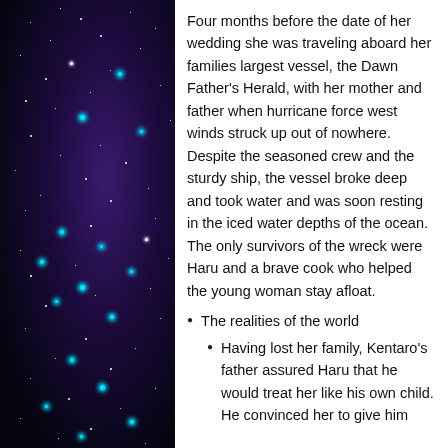[Figure (illustration): Dark night sky with stars and purple/blue nebula cloud effect on the left half of the page]
Four months before the date of her wedding she was traveling aboard her families largest vessel, the Dawn Father's Herald, with her mother and father when hurricane force west winds struck up out of nowhere. Despite the seasoned crew and the sturdy ship, the vessel broke deep and took water and was soon resting in the iced water depths of the ocean. The only survivors of the wreck were Haru and a brave cook who helped the young woman stay afloat.
The realities of the world
Having lost her family, Kentaro's father assured Haru that he would treat her like his own child. He convinced her to give him